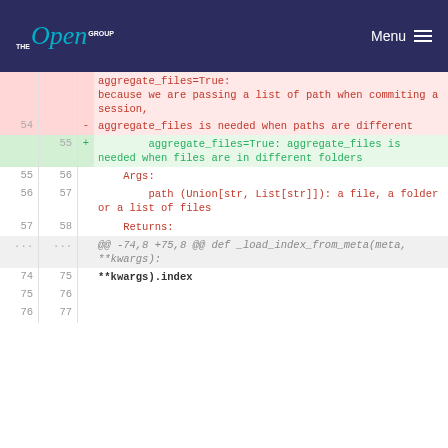The Open Group | Menu
| old | new | +/- | code |
| --- | --- | --- | --- |
|  |  |  | aggregate_files=True: because we are passing a list of path when commiting a session, |
| 54 |  | - | aggregate_files is needed when paths are different |
|  | 55 | + |         aggregate_files=True: aggregate_files is needed when files are in different folders |
| 55 | 56 |  |     Args: |
| 56 | 57 |  |         path (Union[str, List[str]]): a file, a folder or a list of files |
| 57 | 58 |  |     Returns: |
| ... | ... |  | @@ -74,8 +75,8 @@ def _load_index_from_meta(meta, **kwargs): |
| 74 | 75 |  |  |
|  |  |  | **kwargs).index |
| 75 | 76 |  |  |
| 76 | 77 |  |  |